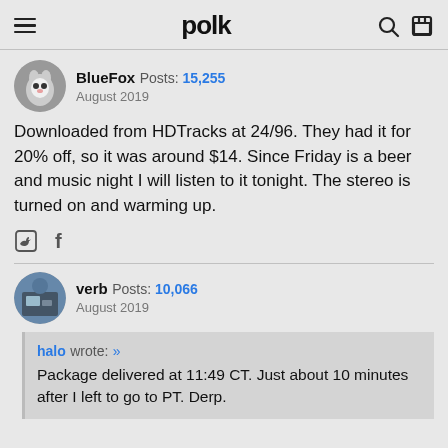polk
BlueFox  Posts: 15,255
August 2019
Downloaded from HDTracks at 24/96. They had it for 20% off, so it was around $14. Since Friday is a beer and music night I will listen to it tonight. The stereo is turned on and warming up.
verb  Posts: 10,066
August 2019
halo wrote: »
Package delivered at 11:49 CT. Just about 10 minutes after I left to go to PT. Derp.